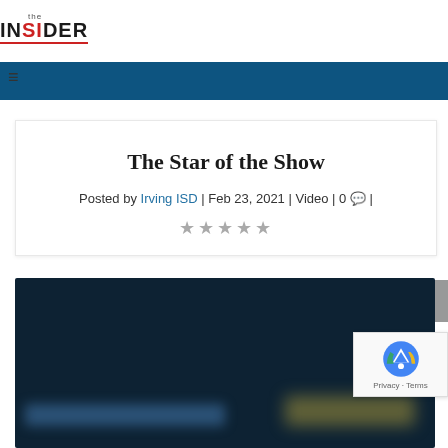the INSIDER
The Star of the Show
Posted by Irving ISD | Feb 23, 2021 | Video | 0 |
★★★★★
[Figure (screenshot): Dark blue video thumbnail with blurred content, partially visible text and a yellow-gold blurred element on the right side]